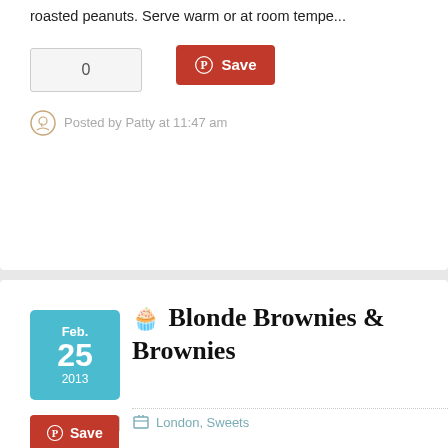roasted peanuts. Serve warm or at room tempe...
0
Save
Posted by Patty at 11:47 am
🧁 Blonde Brownies / Brownies
London, Sweets
Save
I feel these are coming back into vogue. I have... simple they are to make. Seriously, it is mergin... chip cookies! And the best part, they are so mu...